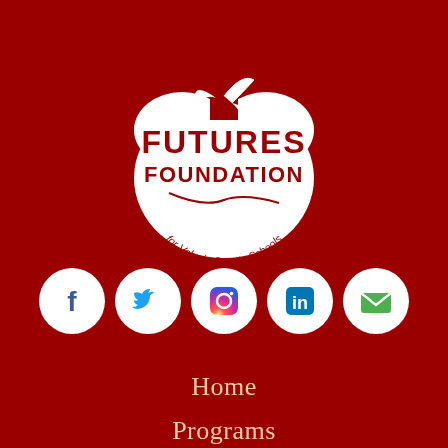[Figure (logo): Futures Foundation for Volusia County Schools logo — white apple shape with decorative stem, bold white text FUTURES FOUNDATION, and curved text 'for Volusia County Schools' on a dark red background]
[Figure (infographic): Row of five social media icon circles on white backgrounds: Facebook (blue f), Twitter (blue bird), Instagram (gradient camera), LinkedIn (blue in), Email (green envelope)]
Home
Programs
Events Calendar